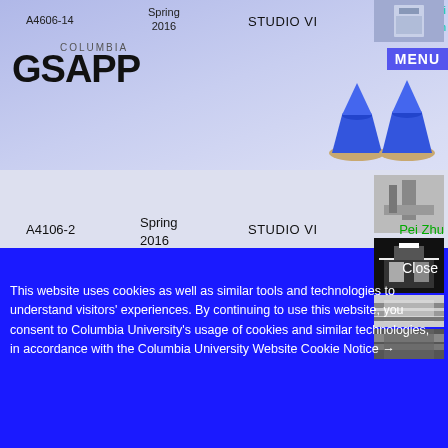COLUMBIA GSAPP
A4106-14
Spring 2016
STUDIO VI
Kumie Ai
Sarah
MENU
[Figure (photo): Architectural model render - building facade top]
[Figure (photo): Architectural model - blue sculptural objects on stands]
[Figure (photo): Architectural model - black and white building section]
A4106-2
Spring 2016
STUDIO VI
Pei Zhu
[Figure (photo): Architectural model black white aerial view]
[Figure (photo): Architectural model black white side elevation]
[Figure (photo): Architectural model black white section detail]
Close
This website uses cookies as well as similar tools and technologies to understand visitors' experiences. By continuing to use this website, you consent to Columbia University's usage of cookies and similar technologies, in accordance with the Columbia University Website Cookie Notice →